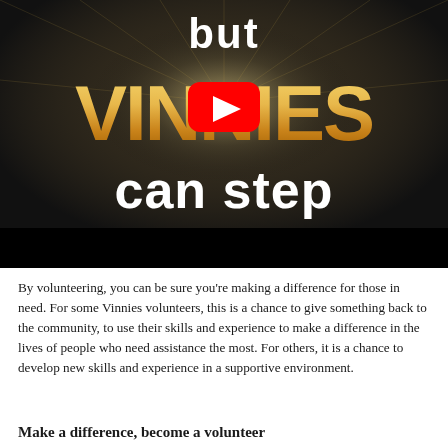[Figure (screenshot): YouTube video thumbnail showing the text 'but VINNIES can step' on a dark background with gold/yellow letters for VINNIES, white text for 'but' and 'can step', and a YouTube play button overlay in the center.]
By volunteering, you can be sure you're making a difference for those in need. For some Vinnies volunteers, this is a chance to give something back to the community, to use their skills and experience to make a difference in the lives of people who need assistance the most. For others, it is a chance to develop new skills and experience in a supportive environment.
Make a difference, become a volunteer